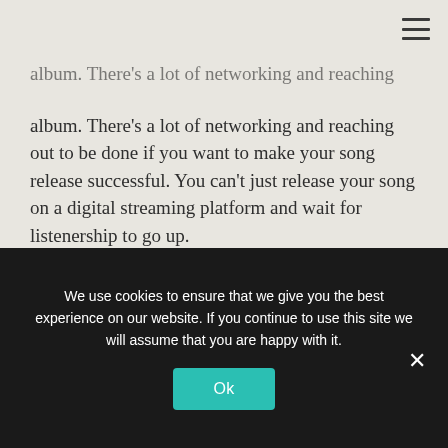album. There's a lot of networking and reaching out to be done if you want to make your song release successful. You can't just release your song on a digital streaming platform and wait for listenership to go up.
You can never have too much digital media presence
We use cookies to ensure that we give you the best experience on our website. If you continue to use this site we will assume that you are happy with it.